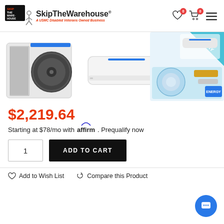SkipTheWarehouse - A USMC Disabled Veterans Owned Business
[Figure (photo): Product images: outdoor AC unit, indoor wall unit, and DIY installation kit]
$2,219.64
Starting at $78/mo with affirm. Prequalify now
1  ADD TO CART
Add to Wish List   Compare this Product